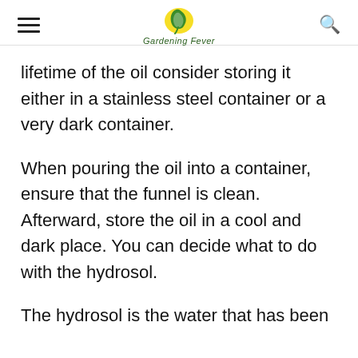Gardening Fever
lifetime of the oil consider storing it either in a stainless steel container or a very dark container.
When pouring the oil into a container, ensure that the funnel is clean. Afterward, store the oil in a cool and dark place. You can decide what to do with the hydrosol.
The hydrosol is the water that has been